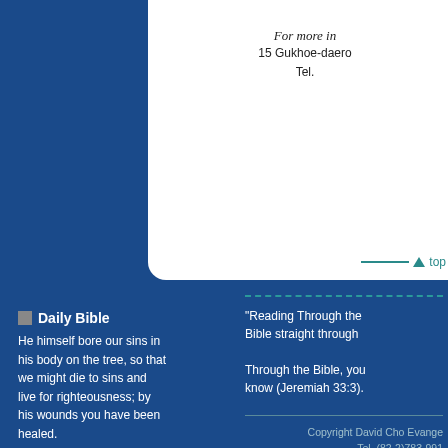For more in
15 Gukhoe-daero
Tel.
top
Daily Bible
He himself bore our sins in his body on the tree, so that we might die to sins and live for righteousness; by his wounds you have been healed.
1 Peter  2:24
"Reading Through the Bible straight through
Through the Bible, you know (Jeremiah 33:3).
Copyright David Cho Evange Tel. (82-2)783-991 dcem@